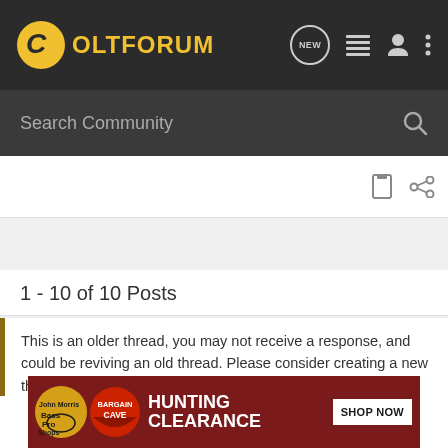COLTFORUM
Search Community
1 - 10 of 10 Posts
This is an older thread, you may not receive a response, and could be reviving an old thread. Please consider creating a new thread.
Join the discussion
Continue with Facebook
[Figure (infographic): Bass Pro Shops advertisement banner: Bargain Cave - Hunting Clearance - Shop Now]
Bargain Cave HUNTING CLEARANCE SHOP NOW